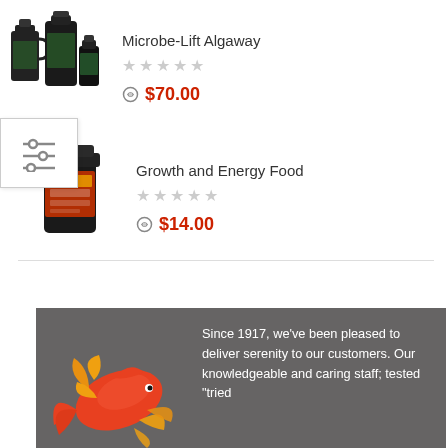[Figure (photo): Microbe-Lift Algaway product bottles - multiple sizes of black containers]
Microbe-Lift Algaway
★★★★★ (empty stars rating)
$70.00
[Figure (photo): Growth and Energy Food product container - dark bottle with label]
Growth and Energy Food
★★★★★ (empty stars rating)
$14.00
[Figure (illustration): Decorative koi fish illustration in red/orange and yellow on dark gray background]
Since 1917, we've been pleased to deliver serenity to our customers. Our knowledgeable and caring staff; tested "tried